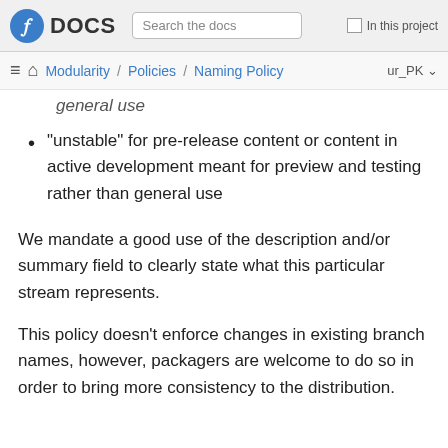Fedora DOCS | Search the docs | In this project
Modularity / Policies / Naming Policy | ur_PK
general use (partial, cut off at top)
"unstable" for pre-release content or content in active development meant for preview and testing rather than general use
We mandate a good use of the description and/or summary field to clearly state what this particular stream represents.
This policy doesn’t enforce changes in existing branch names, however, packagers are welcome to do so in order to bring more consistency to the distribution.